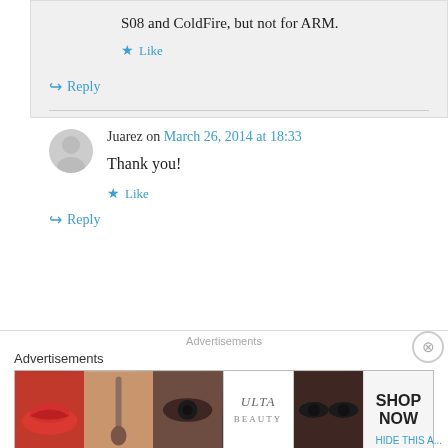S08 and ColdFire, but not for ARM.
★ Like
↪ Reply
Juarez on March 26, 2014 at 18:33
Thank you!
★ Like
↪ Reply
Advertisements
[Figure (photo): Advertisement banner showing makeup/beauty products including lips, brush, eye, Ulta Beauty logo, smokey eye, and Shop Now call to action]